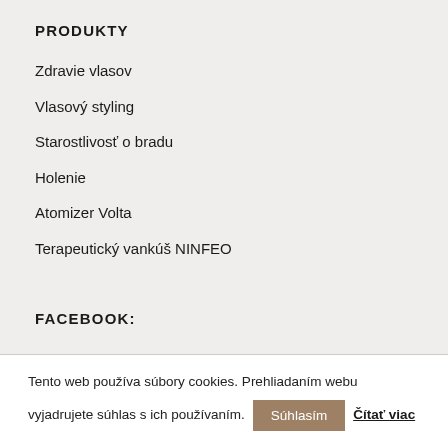PRODUKTY
Zdravie vlasov
Vlasový styling
Starostlivosť o bradu
Holenie
Atomizer Volta
Terapeutický vankúš NINFEO
FACEBOOK:
Tento web používa súbory cookies. Prehliadaním webu vyjadrujete súhlas s ich používaním. Súhlasím Čítať viac